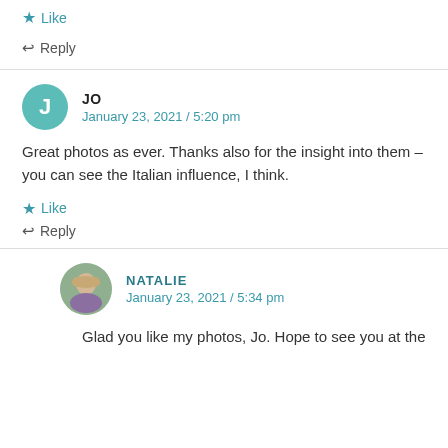★ Like
↩ Reply
JO
January 23, 2021 / 5:20 pm
Great photos as ever. Thanks also for the insight into them – you can see the Italian influence, I think.
★ Like
↩ Reply
NATALIE
January 23, 2021 / 5:34 pm
Glad you like my photos, Jo. Hope to see you at the